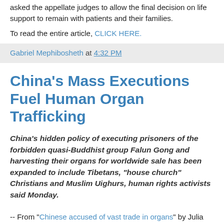asked the appellate judges to allow the final decision on life support to remain with patients and their families.
To read the entire article, CLICK HERE.
Gabriel Mephibosheth at 4:32 PM
China's Mass Executions Fuel Human Organ Trafficking
China's hidden policy of executing prisoners of the forbidden quasi-Buddhist group Falun Gong and harvesting their organs for worldwide sale has been expanded to include Tibetans, "house church" Christians and Muslim Uighurs, human rights activists said Monday.
-- From "Chinese accused of vast trade in organs" by Julia Duin, Washington Times 4/27/10